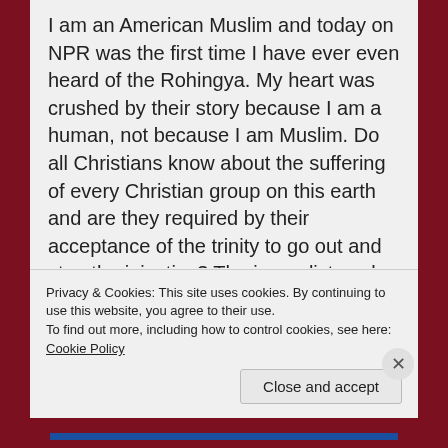I am an American Muslim and today on NPR was the first time I have ever even heard of the Rohingya. My heart was crushed by their story because I am a human, not because I am Muslim. Do all Christians know about the suffering of every Christian group on this earth and are they required by their acceptance of the trinity to go out and stop the injustice? The journalist spoke to a high ranking official in Burma who said, "The Rohingya are not our people because they don't look like us, we are beautiful, they are ugly. Muslims don't come from Burma so they have to go somewhere else." With statements like these and the contstant rape, murder and torture of these people, why can't we
Privacy & Cookies: This site uses cookies. By continuing to use this website, you agree to their use.
To find out more, including how to control cookies, see here: Cookie Policy